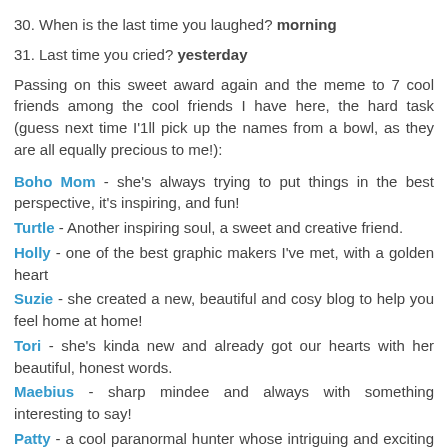30. When is the last time you laughed? morning
31. Last time you cried? yesterday
Passing on this sweet award again and the meme to 7 cool friends among the cool friends I have here, the hard task (guess next time I'1ll pick up the names from a bowl, as they are all equally precious to me!):
Boho Mom - she's always trying to put things in the best perspective, it's inspiring, and fun!
Turtle - Another inspiring soul, a sweet and creative friend.
Holly - one of the best graphic makers I've met, with a golden heart
Suzie - she created a new, beautiful and cosy blog to help you feel home at home!
Tori - she's kinda new and already got our hearts with her beautiful, honest words.
Maebius - sharp mindee and always with something interesting to say!
Patty - a cool paranormal hunter whose intriguing and exciting posts are on my top list